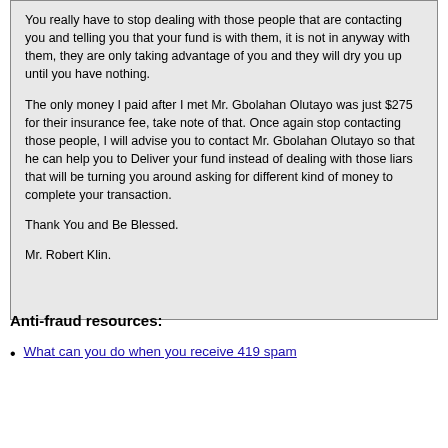You really have to stop dealing with those people that are contacting you and telling you that your fund is with them, it is not in anyway with them, they are only taking advantage of you and they will dry you up until you have nothing.
The only money I paid after I met Mr. Gbolahan Olutayo was just $275 for their insurance fee, take note of that. Once again stop contacting those people, I will advise you to contact Mr. Gbolahan Olutayo so that he can help you to Deliver your fund instead of dealing with those liars that will be turning you around asking for different kind of money to complete your transaction.
Thank You and Be Blessed.
Mr. Robert Klin.
Anti-fraud resources:
What can you do when you receive 419 spam